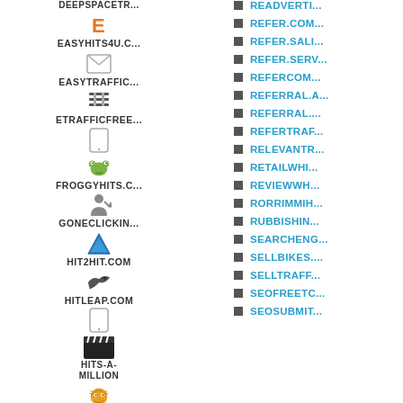DEEPSPACETR...
E - EASYHITS4U.C...
EASYTRAFFIC...
ETRAFFICFREE...
FROGGYHITS.C...
GONECLICKIN...
HIT2HIT.COM
HITLEAP.COM
HITS-A-MILLION
HITSAFARI.CO...
HITSBOOSTER...
ILOVEHI... / ILOVEHITS.CO...
READVERTI...
REFER.COM...
REFER.SALI...
REFER.SERV...
REFERCOM...
REFERRAL.A...
REFERRAL....
REFERTRAF...
RELEVANTR...
RETAILWHI...
REVIEWWH...
RORRIMMIH...
RUBBISHIN...
SEARCHENG...
SELLBIKES....
SELLTRAFF...
SEOFREETC...
SEOSUBMIT...